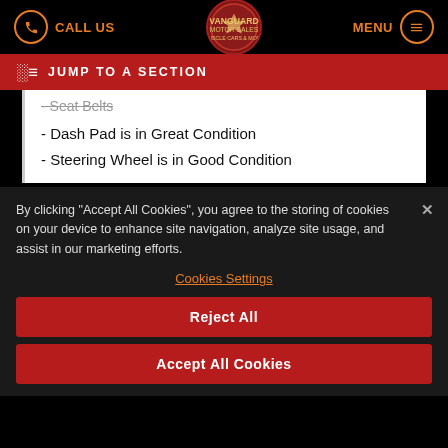CALL US | Vanguard Motor Sales | MENU
JUMP TO A SECTION
- Seat Belts
- Dash Pad is in Great Condition
- Steering Wheel is in Good Condition
By clicking "Accept All Cookies", you agree to the storing of cookies on your device to enhance site navigation, analyze site usage, and assist in our marketing efforts.
Cookies Settings
Reject All
Accept All Cookies